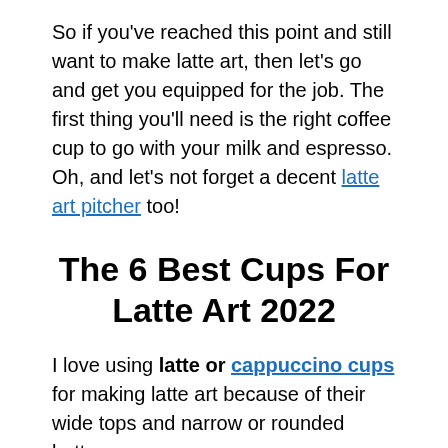So if you've reached this point and still want to make latte art, then let's go and get you equipped for the job. The first thing you'll need is the right coffee cup to go with your milk and espresso. Oh, and let's not forget a decent latte art pitcher too!
The 6 Best Cups For Latte Art 2022
I love using latte or cappuccino cups for making latte art because of their wide tops and narrow or rounded bottoms.